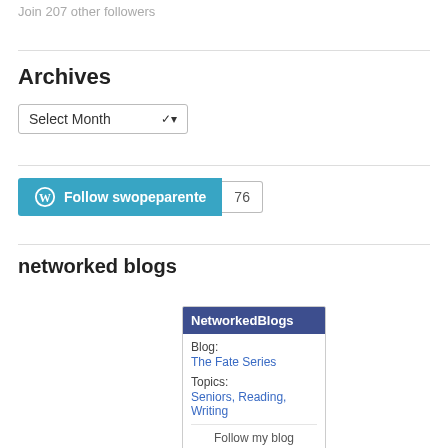Join 207 other followers
Archives
Select Month
[Figure (other): Follow swopeparente button with count 76]
networked blogs
[Figure (other): NetworkedBlogs widget showing Blog: The Fate Series, Topics: Seniors, Reading, Writing, with Follow my blog link]